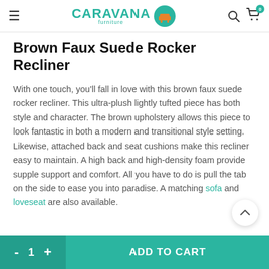CARAVANA furniture
Brown Faux Suede Rocker Recliner
With one touch, you'll fall in love with this brown faux suede rocker recliner. This ultra-plush lightly tufted piece has both style and character. The brown upholstery allows this piece to look fantastic in both a modern and transitional style setting. Likewise, attached back and seat cushions make this recliner easy to maintain. A high back and high-density foam provide supple support and comfort. All you have to do is pull the tab on the side to ease you into paradise. A matching sofa and loveseat are also available.